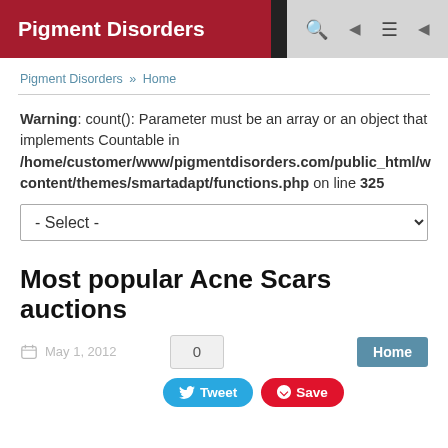Pigment Disorders
Pigment Disorders » Home
Warning: count(): Parameter must be an array or an object that implements Countable in /home/customer/www/pigmentdisorders.com/public_html/w content/themes/smartadapt/functions.php on line 325
- Select -
Most popular Acne Scars auctions
May 1, 2012
0
Home
Tweet
Save